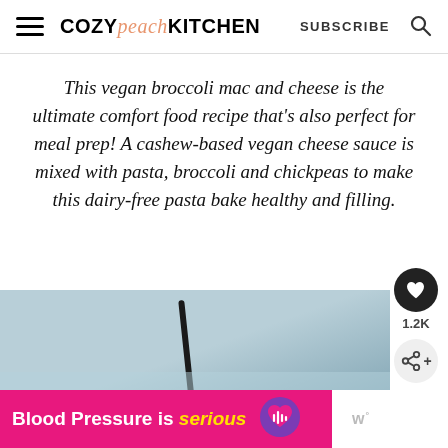COZY peach KITCHEN   SUBSCRIBE
This vegan broccoli mac and cheese is the ultimate comfort food recipe that's also perfect for meal prep! A cashew-based vegan cheese sauce is mixed with pasta, broccoli and chickpeas to make this dairy-free pasta bake healthy and filling.
[Figure (photo): Partial photo of a light blue/grey fabric or surface with a dark rod/stick object, partially visible at bottom of the content area]
[Figure (infographic): Pink advertisement banner reading 'Blood Pressure is serious' with a purple heart icon with lines, and a white panel on the right with grey 'w' logo]